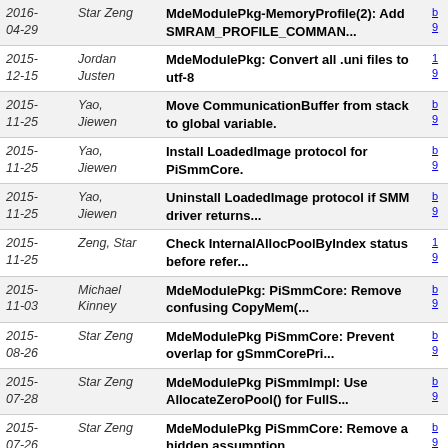| Date | Author | Description |  |
| --- | --- | --- | --- |
| 2016-04-29 | Star Zeng | MdeModulePkg-MemoryProfile(2): Add SMRAM_PROFILE_COMMAN... |  |
| 2015-12-15 | Jordan Justen | MdeModulePkg: Convert all .uni files to utf-8 |  |
| 2015-11-25 | Yao, Jiewen | Move CommunicationBuffer from stack to global variable. |  |
| 2015-11-25 | Yao, Jiewen | Install LoadedImage protocol for PiSmmCore. |  |
| 2015-11-25 | Yao, Jiewen | Uninstall LoadedImage protocol if SMM driver returns... |  |
| 2015-11-25 | Zeng, Star | Check InternalAllocPoolByIndex status before refer... |  |
| 2015-11-03 | Michael Kinney | MdeModulePkg: PiSmmCore: Remove confusing CopyMem(... |  |
| 2015-08-26 | Star Zeng | MdeModulePkg PiSmmCore: Prevent overlap for gSmmCorePri... |  |
| 2015-07-28 | Star Zeng | MdeModulePkg PiSmmImpl: Use AllocateZeroPool() for FullS... |  |
| 2015-07-26 | Star Zeng | MdeModulePkg PiSmmCore: Remove a hidden assumption... |  |
| 2015-06-18 | Star Zeng | MdeModulePkg PiSmmCore: Unregister end of dxe notificat... |  |
| 2015-06-18 | Star Zeng | MdeModulePkg PiSmmCore: Introduce SMM Exit Boot Service... |  |
| 2015-06-09 | Star Zeng | MdeModulePkg PiSmmCore: Free FullSmramRanges at error... |  |
| 2015-... | Zachary | PiSmmCore dispatcher should not use one... |  |